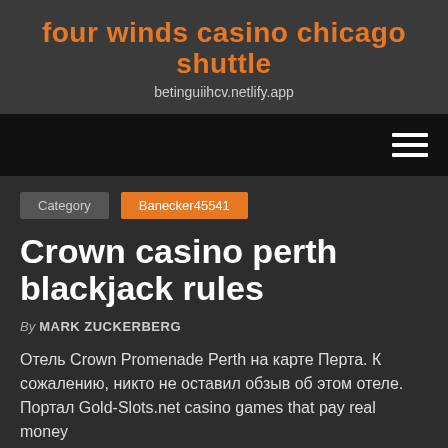four winds casino chicago shuttle
betinguiihcv.netlify.app
Category   Banecker45541
Crown casino perth blackjack rules
By MARK ZUCKERBERG
Отель Crown Promenade Perth на карте Перта. К сожалению, никто не оставил обзыв об этом отеле. Портал Gold-Slots.net casino games that pay real money